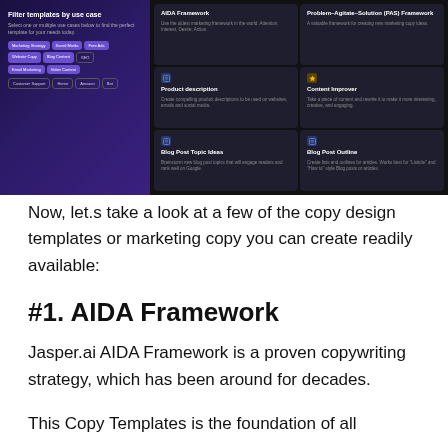[Figure (screenshot): Screenshot of a dark-themed template selection UI showing filter panel on left with tags (Marketing Strategy, Social Media, Free Ads, Website Copy, Blog Content, SEO, Email Marketing, Video Content, Customer Support, Home, Amazon, Bot) and a grid of template cards on right: AIDA Framework, Problem-Agitate-Solution (PAS) Framework, Product description, Content Improver, Blog Post Topic Ideas, Blog Post Outline]
Now, let.s take a look at a few of the copy design templates or marketing copy you can create readily available:
#1. AIDA Framework
Jasper.ai AIDA Framework is a proven copywriting strategy, which has been around for decades.
This Copy Templates is the foundation of all